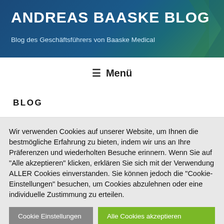ANDREAS BAASKE BLOG
Blog des Geschäftsführers von Baaske Medical
≡ Menü
BLOG
Wir verwenden Cookies auf unserer Website, um Ihnen die bestmögliche Erfahrung zu bieten, indem wir uns an Ihre Präferenzen und wiederholten Besuche erinnern. Wenn Sie auf "Alle akzeptieren" klicken, erklären Sie sich mit der Verwendung ALLER Cookies einverstanden. Sie können jedoch die "Cookie-Einstellungen" besuchen, um Cookies abzulehnen oder eine individuelle Zustimmung zu erteilen.
Cookie Einstellungen
Alle Cookies akzeptieren